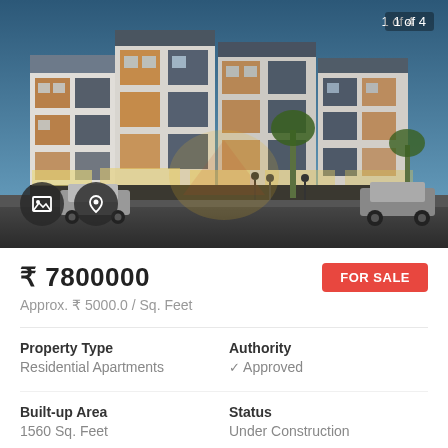[Figure (photo): Exterior render of a modern multi-storey residential apartment complex with colorful facade panels in orange, white, and dark grey. Blue sky background. Street level view with cars and pedestrians. Shows 1 of 4 image counter in top right.]
₹ 7800000
FOR SALE
Approx. ₹ 5000.0 / Sq. Feet
Property Type
Residential Apartments
Authority
✓ Approved
Built-up Area
1560 Sq. Feet
Status
Under Construction